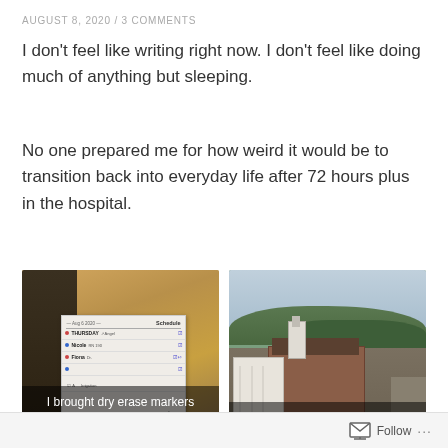AUGUST 8, 2020 / 3 COMMENTS
I don’t feel like writing right now. I don’t feel like doing much of anything but sleeping.
No one prepared me for how weird it would be to transition back into everyday life after 72 hours plus in the hospital.
[Figure (photo): Photo of a hospital room whiteboard with handwritten notes and schedule entries]
I brought dry erase markers from home to add to my board
[Figure (photo): Aerial view from the 9th floor lobby showing trees, buildings, and a town below with cloudy sky]
The view from the 9th floor lobby
Follow